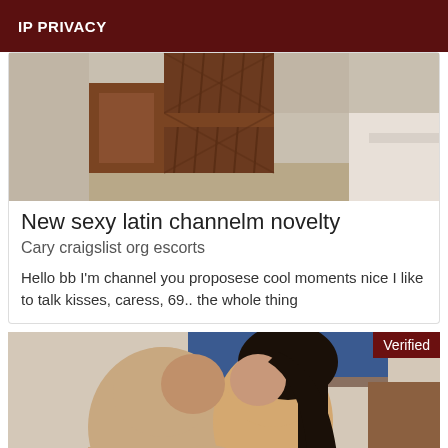IP PRIVACY
[Figure (photo): Cropped bedroom photo showing wooden furniture and white bedding]
New sexy latin channelm novelty
Cary craigslist org escorts
Hello bb I'm channel you proposese cool moments nice I like to talk kisses, caress, 69.. the whole thing
[Figure (photo): Photo of a couple kissing, with 'Verified' badge in top right corner]